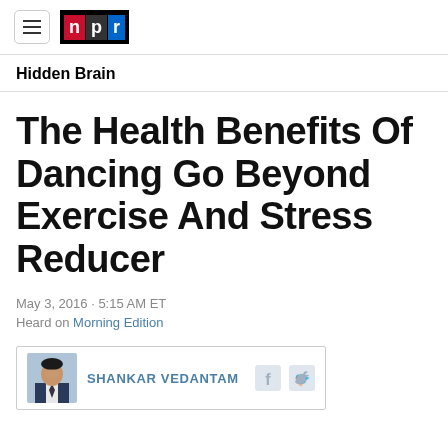NPR — Hidden Brain
Hidden Brain
The Health Benefits Of Dancing Go Beyond Exercise And Stress Reducer
May 3, 2016 · 5:15 AM ET
Heard on Morning Edition
SHANKAR VEDANTAM